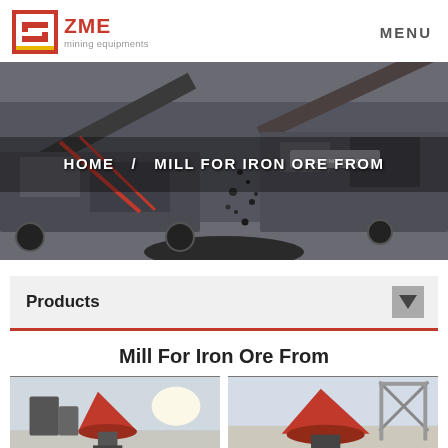ZME mining equipments — MENU
[Figure (photo): Industrial mining crushing station with conveyor belts and heavy machinery processing ore, overlaid with breadcrumb navigation: HOME / MILL FOR IRON ORE FROM]
Products
Mill For Iron Ore From
[Figure (photo): Industrial mill/crusher equipment shown in warehouse setting, left thumbnail]
[Figure (photo): Industrial cone crusher equipment shown in industrial building setting, right thumbnail]